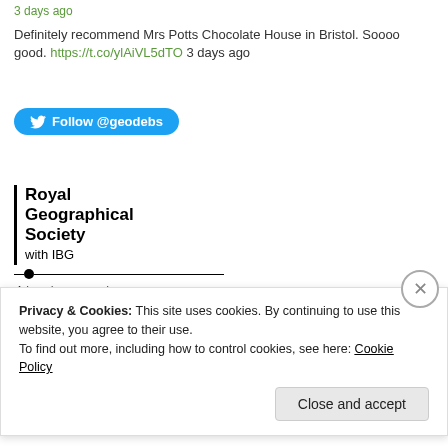3 days ago
Definitely recommend Mrs Potts Chocolate House in Bristol. Soooo good. https://t.co/ylAiVL5dTO 3 days ago
[Figure (other): Twitter Follow @geodebs button in blue]
[Figure (logo): Royal Geographical Society with IBG logo — Advancing geography and geographical learning]
RGS Innovative Teaching
Grant Award
Privacy & Cookies: This site uses cookies. By continuing to use this website, you agree to their use.
To find out more, including how to control cookies, see here: Cookie Policy